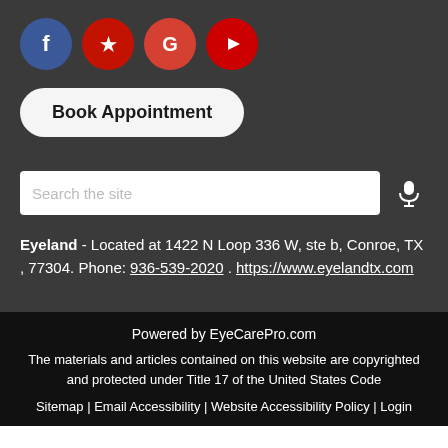[Figure (logo): Four social media icons in circles: Facebook (blue), Yelp (red), Google (red-orange), YouTube (red)]
Book Appointment
[Figure (other): Search bar with placeholder text 'Search the site' and a microphone icon to the right]
Eyeland - Located at 1422 N Loop 336 W, ste b, Conroe, TX , 77304. Phone: 936-539-2020 . https://www.eyelandtx.com
Powered by EyeCarePro.com
The materials and articles contained on this website are copyrighted and protected under Title 17 of the United States Code
Sitemap | Email Accessibility | Website Accessibility Policy | Login